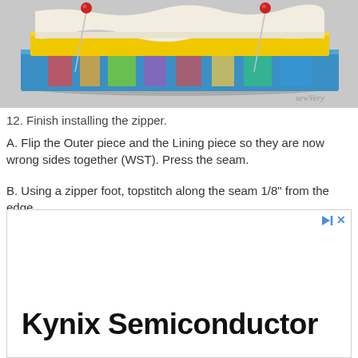[Figure (photo): Photo of layered fabric pieces pinned together with two red-headed pins before zipper installation. Fabric has blue, yellow, and white/cream layers. Watermark reads 'sewVery' in bottom right corner.]
12. Finish installing the zipper.
A. Flip the Outer piece and the Lining piece so they are now wrong sides together (WST). Press the seam.
B. Using a zipper foot, topstitch along the seam 1/8" from the edge.
[Figure (screenshot): Advertisement box with play and close icons in top right. Contains large bold text 'Kynix Semiconductor'.]